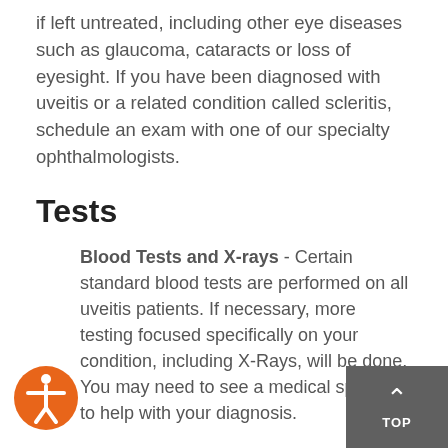if left untreated, including other eye diseases such as glaucoma, cataracts or loss of eyesight. If you have been diagnosed with uveitis or a related condition called scleritis, schedule an exam with one of our specialty ophthalmologists.
Tests
Blood Tests and X-rays - Certain standard blood tests are performed on all uveitis patients. If necessary, more testing focused specifically on your condition, including X-Rays, will be done. You may need to see a medical specialist to help with your diagnosis.
Eye Fluid Analysis - In some cases, your doctor may take a small sample of fluid from the front of your eye to help diagnose your condition rather than perform a vitrectomy. Some viral infections